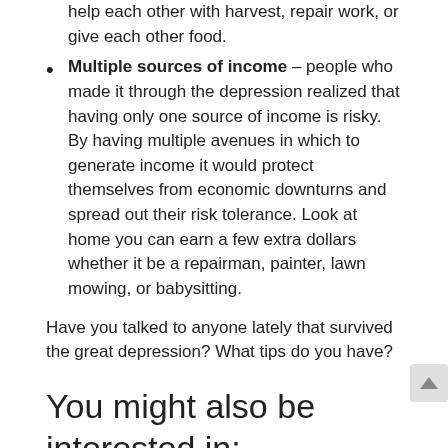help each other with harvest, repair work, or give each other food.
Multiple sources of income – people who made it through the depression realized that having only one source of income is risky. By having multiple avenues in which to generate income it would protect themselves from economic downturns and spread out their risk tolerance. Look at home you can earn a few extra dollars whether it be a repairman, painter, lawn mowing, or babysitting.
Have you talked to anyone lately that survived the great depression? What tips do you have?
You might also be interested in:
Remembering the Great Depression (With Someone Who Lived Through It)
Lessons I Learned From My Great Depression